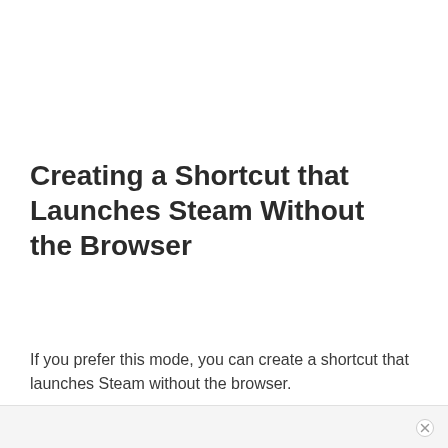Creating a Shortcut that Launches Steam Without the Browser
If you prefer this mode, you can create a shortcut that launches Steam without the browser.